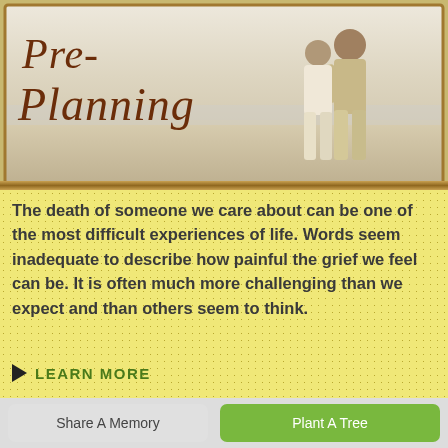[Figure (photo): Pre-Planning banner image with cursive text 'Pre-Planning' overlaid on a photo of an elderly couple walking on a beach, viewed from behind, with a warm sandy color palette and wooden frame border.]
The death of someone we care about can be one of the most difficult experiences of life. Words seem inadequate to describe how painful the grief we feel can be. It is often much more challenging than we expect and than others seem to think.
LEARN MORE
Share A Memory
Plant A Tree